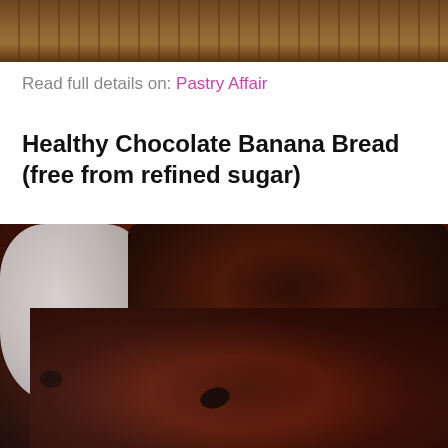[Figure (photo): Top portion of a wooden surface/table with dark food item partially visible at top of page]
Read full details on: Pastry Affair
Healthy Chocolate Banana Bread (free from refined sugar)
[Figure (photo): Close-up photo of slices of chocolate banana bread with chocolate chips, a white cup/mug visible in the background on the left]